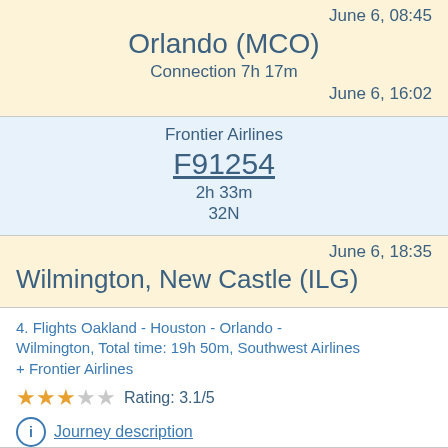June 6, 08:45
Orlando (MCO)
Connection 7h 17m
June 6, 16:02
Frontier Airlines
F91254
2h 33m
32N
June 6, 18:35
Wilmington, New Castle (ILG)
4. Flights Oakland - Houston - Orlando - Wilmington, Total time: 19h 50m, Southwest Airlines + Frontier Airlines
Rating: 3.1/5
Journey description